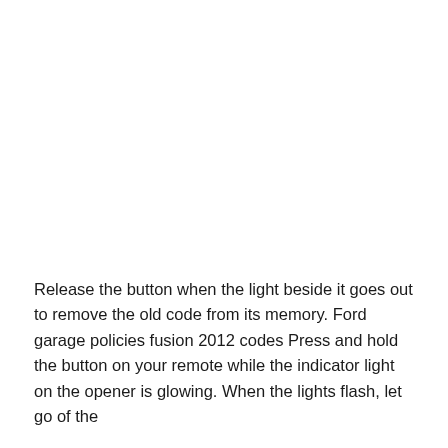Release the button when the light beside it goes out to remove the old code from its memory. Ford garage policies fusion 2012 codes Press and hold the button on your remote while the indicator light on the opener is glowing. When the lights flash, let go of the